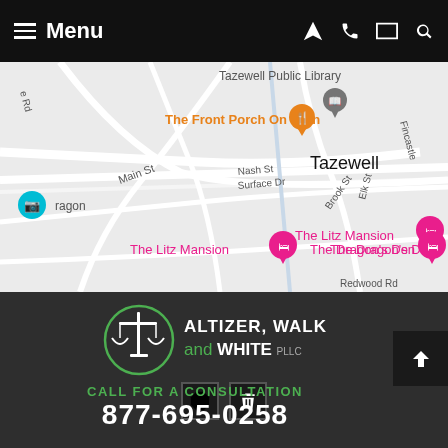Menu
[Figure (map): Google Maps screenshot showing Tazewell area with landmarks: The Front Porch On Main (orange marker), Tazewell Public Library (gray marker), The Litz Mansion (pink marker), The Dragon's Den (pink marker), and a cyan camera icon labeled dragon. Street names visible: Main St, Nash St, Surface Dr, Brook St, Elk St, Fincastle. Town center labeled Tazewell.]
[Figure (logo): Altizer, Walk and White PLLC law firm logo: scales of justice icon inside a green circle, with firm name in white and green text on dark background]
CALL FOR A CONSULTATION
877-695-0258